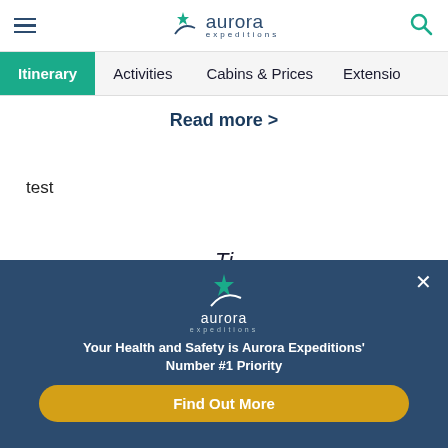[Figure (logo): Aurora Expeditions logo with star/arc icon and text 'aurora expeditions' in teal, hamburger menu icon on left, search icon on right]
Itinerary | Activities | Cabins & Prices | Extensions
Read more >
test
Ti...
[Figure (logo): Aurora Expeditions popup overlay on dark blue background with star/arc logo, close button (x), text 'Your Health and Safety is Aurora Expeditions' Number #1 Priority', and yellow 'Find Out More' button]